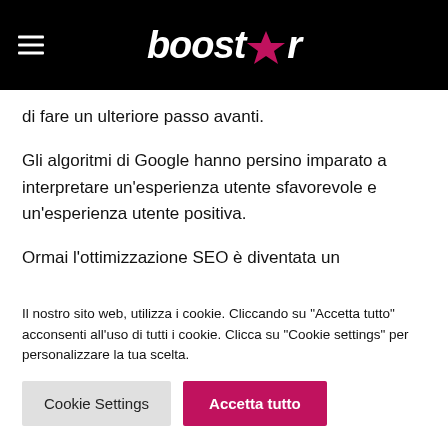boostar
di fare un ulteriore passo avanti.
Gli algoritmi di Google hanno persino imparato a interpretare un’esperienza utente sfavorevole e un’esperienza utente positiva.
Ormai l’ottimizzazione SEO è diventata un
Il nostro sito web, utilizza i cookie. Cliccando su "Accetta tutto" acconsenti all'uso di tutti i cookie. Clicca su "Cookie settings" per personalizzare la tua scelta.